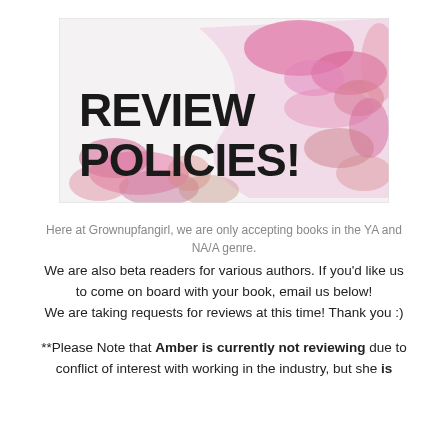[Figure (illustration): Banner image with pink paint splash background and bold black text reading 'REVIEW POLICIES!']
Here at Grownupfangirl, we are only accepting books in the YA and NA/A genre.
We are also beta readers for various authors. If you'd like us to come on board with your book, email us below!
We are taking requests for reviews at this time! Thank you :)
**Please Note that Amber is currently not reviewing due to conflict of interest with working in the industry, but she is